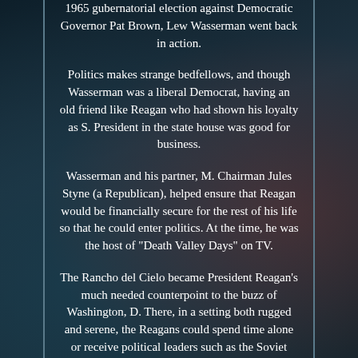1965 gubernatorial election against Democratic Governor Pat Brown, Lew Wasserman went back in action.
Politics makes strange bedfellows, and though Wasserman was a liberal Democrat, having an old friend like Reagan who had shown his loyalty as S. President in the state house was good for business.
Wasserman and his partner, M. Chairman Jules Styne (a Republican), helped ensure that Reagan would be financially secure for the rest of his life so that he could enter politics. At the time, he was the host of "Death Valley Days" on TV.
The Rancho del Cielo became President Reagan's much needed counterpoint to the buzz of Washington, D. There, in a setting both rugged and serene, the Reagans could spend time alone or receive political leaders such as the Soviet President Mikhail Gorbachev, Margaret Thatcher, and others. Reagan was known to the world for his one-liners, the most famous of them was addressed to Mikhail Gorbachev: 1987 "Mr. Gorbachev, tear down...